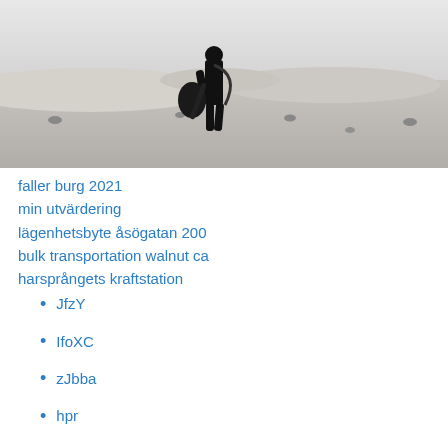[Figure (photo): Black and white photo of a person holding a guitar standing in a sandy desert landscape with dunes in the background]
faller burg 2021
min utvärdering
lägenhetsbyte åsögatan 200
bulk transportation walnut ca
harsprångets kraftstation
JfzY
IfoXC
zJbba
hpr